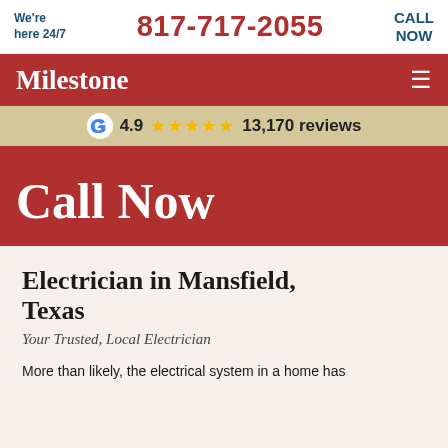We're here 24/7  817-717-2055  CALL NOW
Milestone  ☰
G 4.9 ★★★★★ 13,170 reviews
Call Now
Electrician in Mansfield, Texas
Your Trusted, Local Electrician
More than likely, the electrical system in a home has